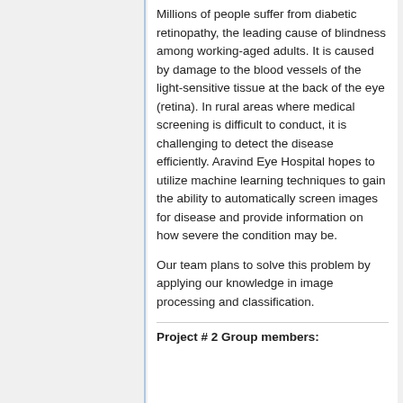Millions of people suffer from diabetic retinopathy, the leading cause of blindness among working-aged adults. It is caused by damage to the blood vessels of the light-sensitive tissue at the back of the eye (retina). In rural areas where medical screening is difficult to conduct, it is challenging to detect the disease efficiently. Aravind Eye Hospital hopes to utilize machine learning techniques to gain the ability to automatically screen images for disease and provide information on how severe the condition may be.
Our team plans to solve this problem by applying our knowledge in image processing and classification.
Project # 2 Group members: